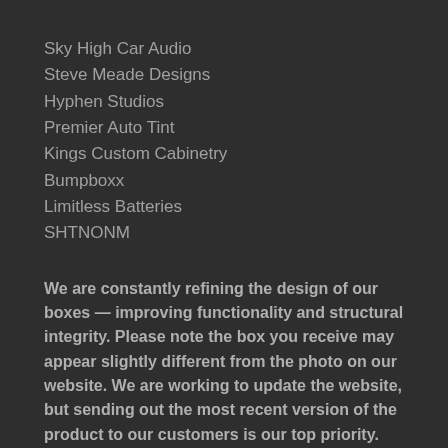Sky High Car Audio
Steve Meade Designs
Hyphen Studios
Premier Auto Tint
Kings Custom Cabinetry
Bumpboxx
Limitless Batteries
SHTNONM
We are constantly refining the design of our boxes — improving functionality and structural integrity. Please note the box you receive may appear slightly different from the photo on our website. We are working to update the website, but sending out the most recent version of the product to our customers is our top priority.